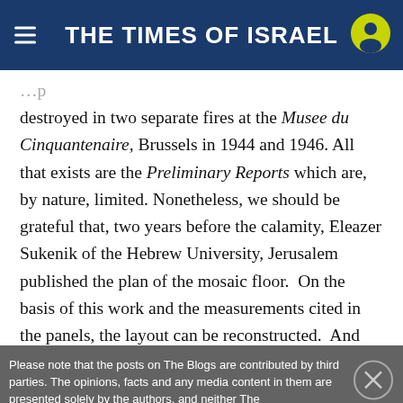THE TIMES OF ISRAEL
destroyed in two separate fires at the Musee du Cinquantenaire, Brussels in 1944 and 1946. All that exists are the Preliminary Reports which are, by nature, limited. Nonetheless, we should be grateful that, two years before the calamity, Eleazer Sukenik of the Hebrew University, Jerusalem published the plan of the mosaic floor.  On the basis of this work and the measurements cited in the panels, the layout can be reconstructed.  And whereas we may not be able to give a monetary value to the inscriptions, the cost of the mosaics per
Please note that the posts on The Blogs are contributed by third parties. The opinions, facts and any media content in them are presented solely by the authors, and neither The
[Figure (other): Social media sharing icons: Facebook, Twitter, Email, WhatsApp]